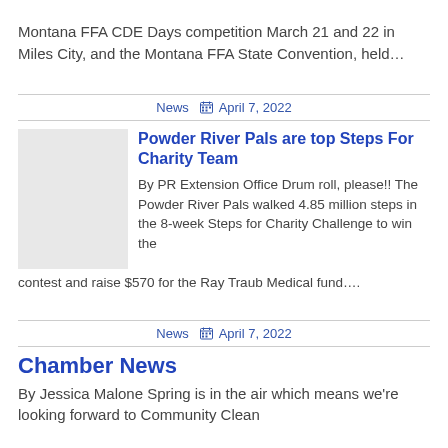Montana FFA CDE Days competition March 21 and 22 in Miles City, and the Montana FFA State Convention, held…
News  April 7, 2022
Powder River Pals are top Steps For Charity Team
By PR Extension Office Drum roll, please!! The Powder River Pals walked 4.85 million steps in the 8-week Steps for Charity Challenge to win the contest and raise $570 for the Ray Traub Medical fund….
News  April 7, 2022
Chamber News
By Jessica Malone Spring is in the air which means we're looking forward to Community Clean